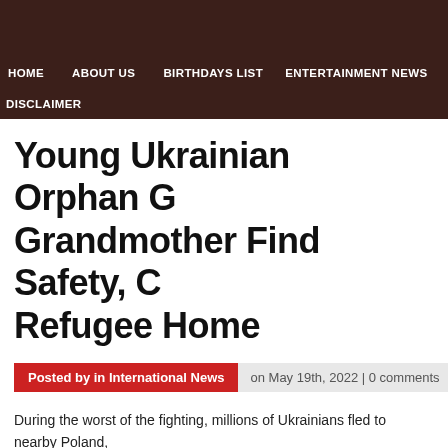HOME   ABOUT US   BIRTHDAYS LIST   ENTERTAINMENT NEWS   DISCLAIMER
Young Ukrainian Orphan Girl and Grandmother Find Safety, Comfort at Refugee Home
Posted by in International News   on May 19th, 2022 | 0 comments
During the worst of the fighting, millions of Ukrainians fled to nearby Poland, who found comfort at a refugee home supported by CBN's Orphan's Promise.
Print Friendly